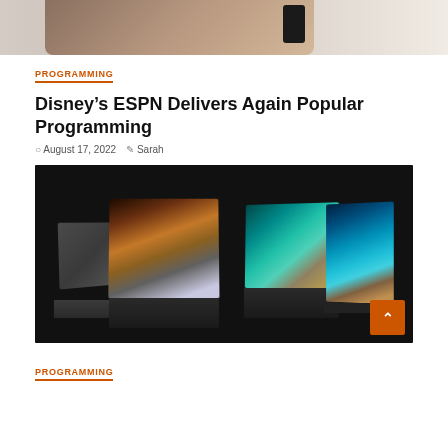[Figure (photo): Top cropped image showing a hand holding a smartphone, beige/tan background]
PROGRAMMING
Disney’s ESPN Delivers Again Popular Programming
August 17, 2022  Sarah
[Figure (photo): Dark background photo showing four open laptops with colorful marble/abstract wallpapers displayed on their screens, arranged in a fan-like display]
PROGRAMMING